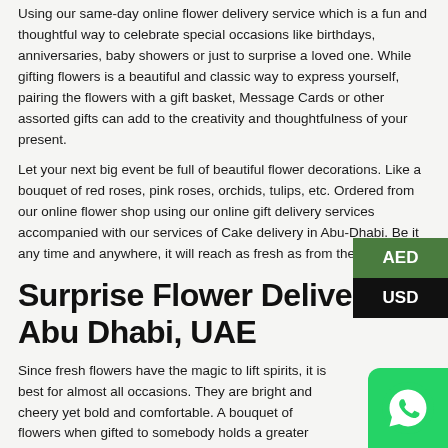Using our same-day online flower delivery service which is a fun and thoughtful way to celebrate special occasions like birthdays, anniversaries, baby showers or just to surprise a loved one. While gifting flowers is a beautiful and classic way to express yourself, pairing the flowers with a gift basket, Message Cards or other assorted gifts can add to the creativity and thoughtfulness of your present.
Let your next big event be full of beautiful flower decorations. Like a bouquet of red roses, pink roses, orchids, tulips, etc. Ordered from our online flower shop using our online gift delivery services accompanied with our services of Cake delivery in Abu-Dhabi. Be it any time and anywhere, it will reach as fresh as from the farm!.
Surprise Flower Delivery Abu Dhabi, UAE
Since fresh flowers have the magic to lift spirits, it is best for almost all occasions. They are bright and cheery yet bold and comfortable. A bouquet of flowers when gifted to somebody holds a greater sentimental value than anything else on this planet. The color and the warmth that these flowers impart become an evocative tribute to the recipient.
Our floral arrangements and bouquets, prepared by the best florist in Abu Dhabi, feature both traditional and modern flower picks. Meaning you are sure to find the perfect bouquet in our selection of blooms.